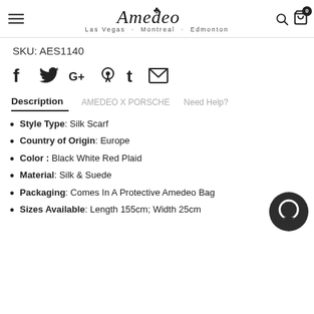Amedeo — Las Vegas · Montreal · Edmonton
SKU: AES1140
[Figure (infographic): Social media sharing icons: Facebook, Twitter, Google+, Pinterest, Tumblr, Email]
Description | AMEDEO X PORSCHE | Need Help?
Style Type: Silk Scarf
Country of Origin: Europe
Color : Black White Red Plaid
Material: Silk & Suede
Packaging: Comes In A Protective Amedeo Bag
Sizes Available: Length 155cm; Width 25cm